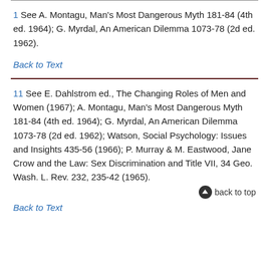1 See A. Montagu, Man's Most Dangerous Myth 181-84 (4th ed. 1964); G. Myrdal, An American Dilemma 1073-78 (2d ed. 1962).
Back to Text
11 See E. Dahlstrom ed., The Changing Roles of Men and Women (1967); A. Montagu, Man's Most Dangerous Myth 181-84 (4th ed. 1964); G. Myrdal, An American Dilemma 1073-78 (2d ed. 1962); Watson, Social Psychology: Issues and Insights 435-56 (1966); P. Murray & M. Eastwood, Jane Crow and the Law: Sex Discrimination and Title VII, 34 Geo. Wash. L. Rev. 232, 235-42 (1965).
back to top
Back to Text